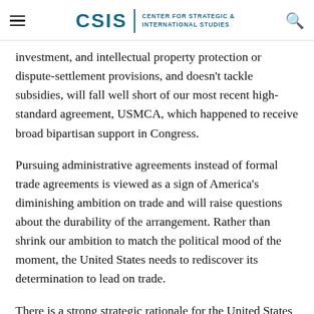CSIS | CENTER FOR STRATEGIC & INTERNATIONAL STUDIES
investment, and intellectual property protection or dispute-settlement provisions, and doesn't tackle subsidies, will fall well short of our most recent high-standard agreement, USMCA, which happened to receive broad bipartisan support in Congress.
Pursuing administrative agreements instead of formal trade agreements is viewed as a sign of America's diminishing ambition on trade and will raise questions about the durability of the arrangement. Rather than shrink our ambition to match the political mood of the moment, the United States needs to rediscover its determination to lead on trade.
There is a strong strategic rationale for the United States to reassert leadership on trade. Deeper economic integration between the U.S. and our Asian partners